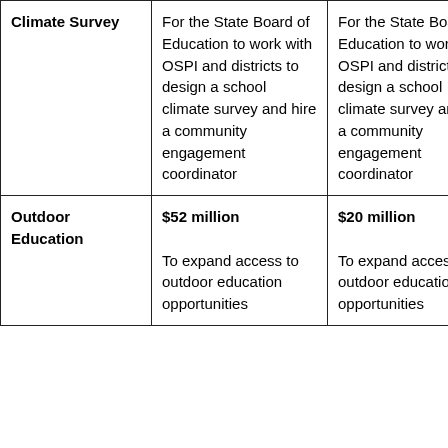| Climate Survey | For the State Board of Education to work with OSPI and districts to design a school climate survey and hire a community engagement coordinator | For the State Board of Education to work with OSPI and districts to design a school climate survey and hire a community engagement coordinator | For the State Board of Education to work with OSPI and districts to design a school climate survey and hire a community engagement coordinator |
| Outdoor Education | $52 million

To expand access to outdoor education opportunities... | $20 million

To expand access to outdoor education opportunities... | $10...

To expand access to outdoor... |